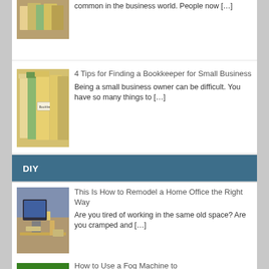common in the business world. People now […]
[Figure (photo): File folders with bookkeeping label tab]
4 Tips for Finding a Bookkeeper for Small Business
Being a small business owner can be difficult. You have so many things to […]
DIY
[Figure (photo): Home office desk with laptop and supplies]
This Is How to Remodel a Home Office the Right Way
Are you tired of working in the same old space? Are you cramped and […]
[Figure (photo): Green foggy background]
How to Use a Fog Machine to